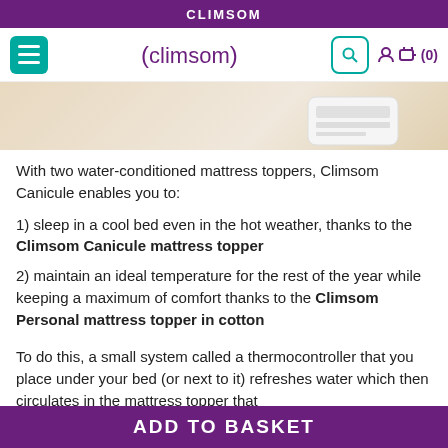CLIMSOM
[Figure (screenshot): Climsom website navigation bar with hamburger menu, Climsom logo in purple, teal search button, user icon and cart showing (0)]
[Figure (photo): Partial product image showing a white thermocontroller device on a light wood floor]
With two water-conditioned mattress toppers, Climsom Canicule enables you to:
1) sleep in a cool bed even in the hot weather, thanks to the Climsom Canicule mattress topper
2) maintain an ideal temperature for the rest of the year while keeping a maximum of comfort thanks to the Climsom Personal mattress topper in cotton
To do this, a small system called a thermocontroller that you place under your bed (or next to it) refreshes water which then circulates in the mattress topper that
ADD TO BASKET